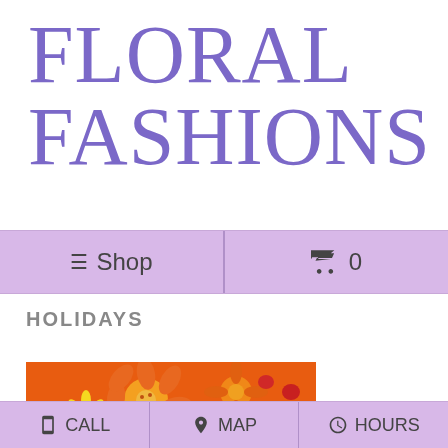FLORAL FASHIONS
☰ Shop   🛒 0
HOLIDAYS
[Figure (photo): Arrangement of orange lilies and yellow daisies on an orange background, with a blue banner reading DESIGNER'S CHOICE]
📱 CALL   📍 MAP   🕐 HOURS